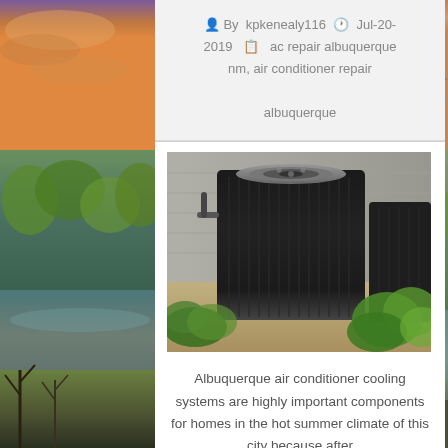By kpkenealy116  Jul-20-2019  ac repair albuquerque nm, air conditioner repair albuquerque
[Figure (photo): Outdoor AC unit / air conditioner condenser placed on a concrete pad beside a brick wall, surrounded by green plants and bushes.]
Albuquerque air conditioner cooling systems are highly important components for homes in the hot summer climate of this city because after